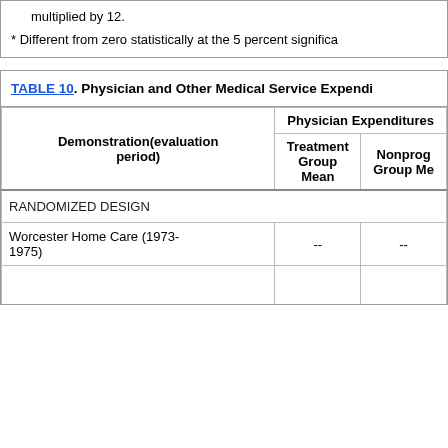multiplied by 12.
* Different from zero statistically at the 5 percent significa
TABLE 10. Physician and Other Medical Service Expendi
| Demonstration(evaluation period) | Physician Expenditures — Treatment Group Mean | Physician Expenditures — Nonprog Group Me |
| --- | --- | --- |
| RANDOMIZED DESIGN |  |  |
| Worcester Home Care (1973-1975) | -- | -- |
|  |  |  |